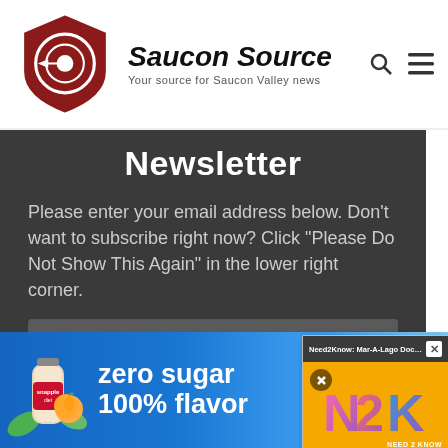[Figure (logo): Saucon Source logo with shield icon, site name and tagline 'Your source for Saucon Valley news']
Newsletter
Please enter your email address below. Don't want to subscribe right now? Click "Please Do Not Show This Again" in the lower right corner.
[Figure (screenshot): Email subscribe input field with placeholder 'Subscribe with e']
[Figure (screenshot): CLICK HERE button in teal/cyan color]
[Figure (screenshot): N2K Need2Know popup video overlay with title 'Need2Know: Mar-A-Lago Docs Unseale...' and N2K logo on orange background]
Please do not show this again
[Figure (screenshot): Snapple zero sugar 100% flavor advertisement banner with Shop Now button and Available at Publix badge]